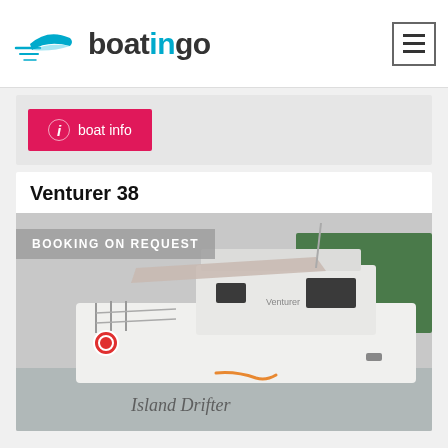boatingo
i boat info
Venturer 38
[Figure (photo): Photo of a white catamaran boat named 'Island Drifter' docked at a marina with 'BOOKING ON REQUEST' overlay badge. Trees visible in the background.]